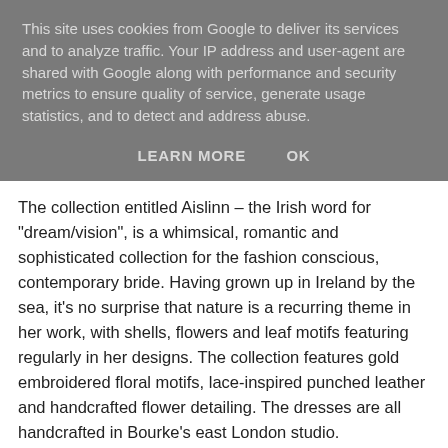This site uses cookies from Google to deliver its services and to analyze traffic. Your IP address and user-agent are shared with Google along with performance and security metrics to ensure quality of service, generate usage statistics, and to detect and address abuse.
LEARN MORE    OK
The collection entitled Aislinn – the Irish word for "dream/vision", is a whimsical, romantic and sophisticated collection for the fashion conscious, contemporary bride. Having grown up in Ireland by the sea, it's no surprise that nature is a recurring theme in her work, with shells, flowers and leaf motifs featuring regularly in her designs. The collection features gold embroidered floral motifs, lace-inspired punched leather and handcrafted flower detailing. The dresses are all handcrafted in Bourke's east London studio.
[Figure (photo): Partial view of a woman in a wedding dress, cropped at the bottom of the page]